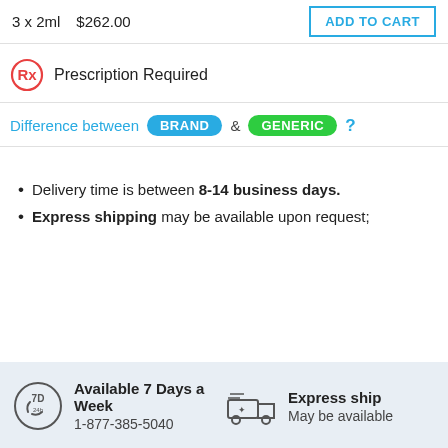3 x 2ml   $262.00   ADD TO CART
Prescription Required
Difference between BRAND & GENERIC ?
Delivery time is between 8-14 business days.
Express shipping may be available upon request;
Available 7 Days a Week
1-877-385-5040
Express ship
May be available